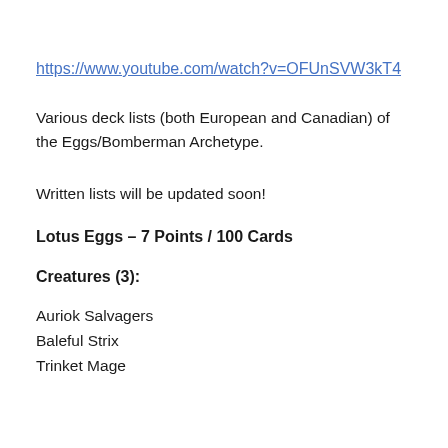https://www.youtube.com/watch?v=OFUnSVW3kT4
Various deck lists (both European and Canadian) of the Eggs/Bomberman Archetype.
Written lists will be updated soon!
Lotus Eggs – 7 Points / 100 Cards
Creatures (3):
Auriok Salvagers
Baleful Strix
Trinket Mage